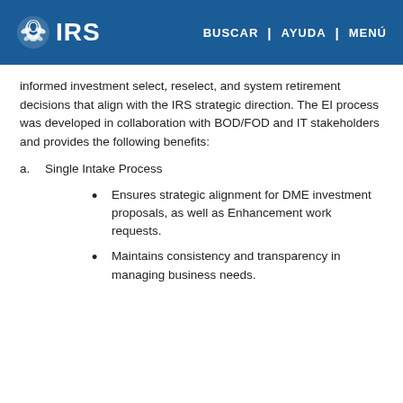IRS | BUSCAR | AYUDA | MENÚ
informed investment select, reselect, and system retirement decisions that align with the IRS strategic direction. The EI process was developed in collaboration with BOD/FOD and IT stakeholders and provides the following benefits:
a.   Single Intake Process
Ensures strategic alignment for DME investment proposals, as well as Enhancement work requests.
Maintains consistency and transparency in managing business needs.